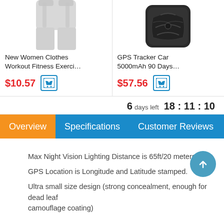[Figure (photo): New Women Clothes product image - white/gray athletic shorts]
New Women Clothes Workout Fitness Exerci…
$10.57
[Figure (photo): GPS Tracker Car product image - black rubber device]
GPS Tracker Car 5000mAh 90 Days…
$57.56
6 days left 18 : 11 : 10
Overview   Specifications   Customer Reviews
Max Night Vision Lighting Distance is 65ft/20 meters.
GPS Location is Longitude and Latitude stamped.
Ultra small size design (strong concealment, enough for dead leaf camouflage coating)
Description:
Product Category: Trail Camera